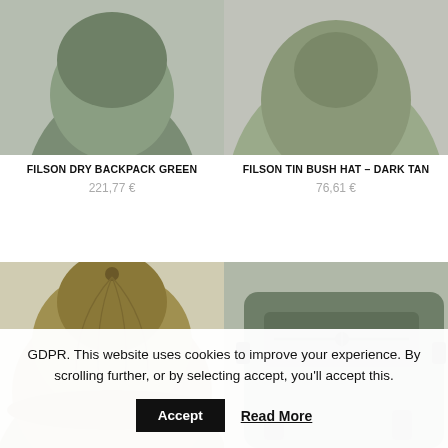[Figure (photo): Olive green Filson Dry Backpack product photo, partially cropped at top]
FILSON DRY BACKPACK GREEN
221,77 €
[Figure (photo): Filson Tin Bush Hat in Dark Tan, partially cropped at top]
FILSON TIN BUSH HAT – DARK TAN
76,61 €
[Figure (photo): Olive/tan colored cap hat bottom portion visible]
[Figure (photo): Olive green Filson bag/pack bottom portion visible]
GDPR. This website uses cookies to improve your experience. By scrolling further, or by selecting accept, you'll accept this.
Accept
Read More